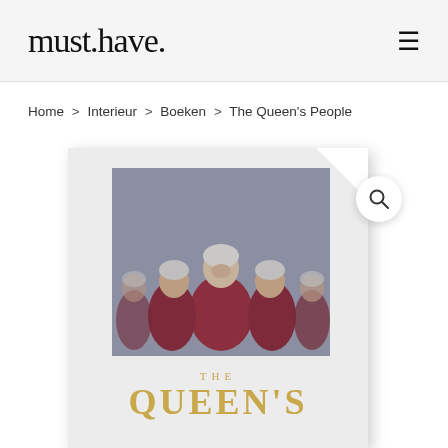must.have.
Home > Interieur > Boeken > The Queen's People
[Figure (photo): A book titled 'The Queen's People' showing a cover photograph of Queen Elizabeth II in red, depicted multiple times from different angles, with gold title text 'THE QUEEN'S' on a white background.]